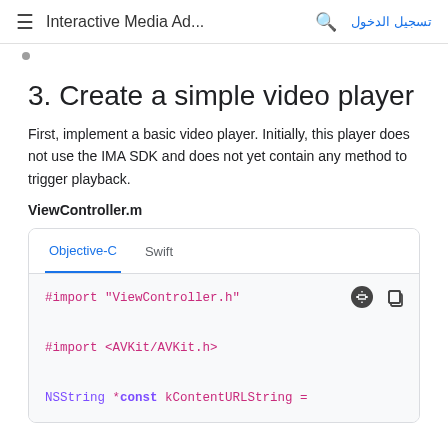≡ Interactive Media Ad... 🔍 تسجيل الدخول
3. Create a simple video player
First, implement a basic video player. Initially, this player does not use the IMA SDK and does not yet contain any method to trigger playback.
ViewController.m
[Figure (screenshot): Code block with Objective-C and Swift tabs, showing #import "ViewController.h", #import <AVKit/AVKit.h>, and partial NSString *const kContentURLString = line in pink/purple monospace font on light gray background]